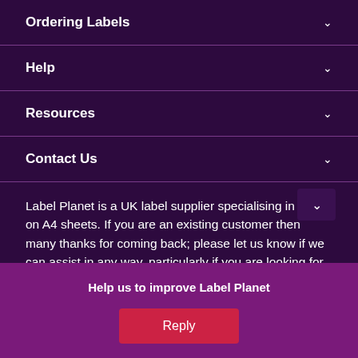Ordering Labels
Help
Resources
Contact Us
Label Planet is a UK label supplier specialising in labels on A4 sheets. If you are an existing customer then many thanks for coming back; please let us know if we can assist in any way, particularly if you are looking for something different. If you are a new visitor then we hope you find what you need. We are always happy to help and we supply free samples templates for you individually ls in quantities
Help us to improve Label Planet
Reply